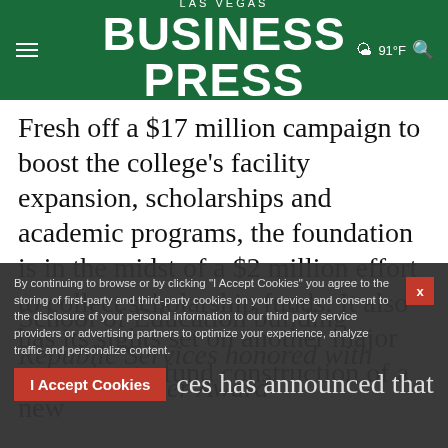LAS VEGAS BUSINESS PRESS — 91°F
Fresh off a $17 million campaign to boost the college's facility expansion, scholarships and academic programs, the foundation is in the midst of a $2 million effort to collect scholarship funds. It also has its sights set on another major campaign to fund construction of a new School of Education building
Republic Services honored with Groundbreaker Award
By continuing to browse or by clicking "I Accept Cookies" you agree to the storing of first-party and third-party cookies on your device and consent to the disclosure of your personal information to our third party service providers or advertising partners to optimize your experience, analyze traffic and personalize content.
I Accept Cookies  ces has announced that the